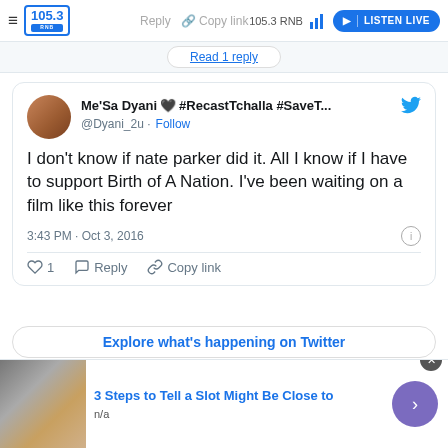105.3 RNB  LISTEN LIVE
Read 1 reply
Me'Sa Dyani ♥ #RecastTchalla #SaveT... @Dyani_2u · Follow

I don't know if nate parker did it. All I know if I have to support Birth of A Nation. I've been waiting on a film like this forever

3:43 PM · Oct 3, 2016

♡ 1  Reply  Copy link
Explore what's happening on Twitter
3 Steps to Tell a Slot Might Be Close to
n/a